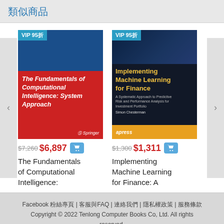類似商品
[Figure (illustration): Book cover: The Fundamentals of Computational Intelligence: System Approach, Springer, red and blue cover]
$7,260 $6,897
The Fundamentals of Computational Intelligence:
[Figure (illustration): Book cover: Implementing Machine Learning for Finance, Apress, dark cover with yellow title]
$1,300 $1,311
Implementing Machine Learning for Finance: A
Facebook 粉絲專頁 | 客服與FAQ | 連絡我們 | 隱私權政策 | 服務條款
Copyright © 2022 Tenlong Computer Books Co, Ltd. All rights reserved.